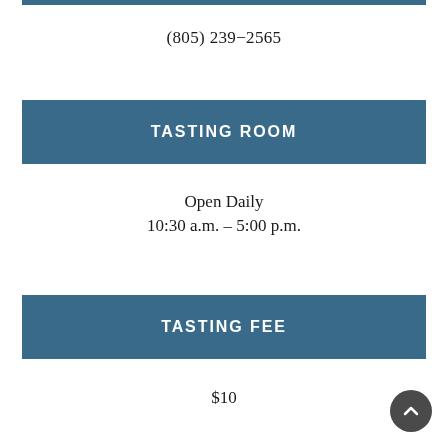(805) 239-2565
TASTING ROOM
Open Daily
10:30 a.m. – 5:00 p.m.
TASTING FEE
$10